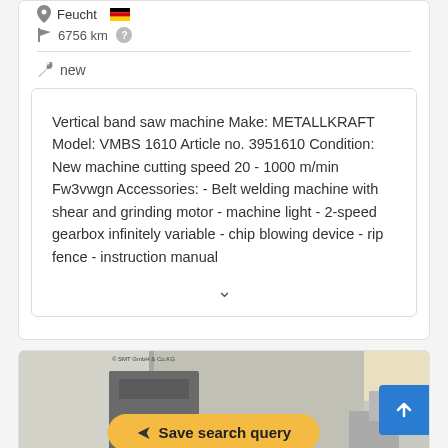Feucht 🇩🇪
6756 km ?
new
Vertical band saw machine Make: METALLKRAFT Model: VMBS 1610 Article no. 3951610 Condition: New machine cutting speed 20 - 1000 m/min Fw3vwgn Accessories: - Belt welding machine with shear and grinding motor - machine light - 2-speed gearbox infinitely variable - chip blowing device - rip fence - instruction manual
[Figure (photo): Partial photo of a vertical band saw machine in an industrial setting, with a yellow 'Save search query' button overlaid and a blue scroll-to-top button on the right.]